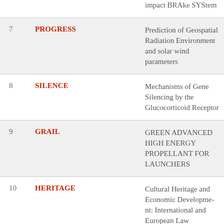| # | Acronym | Full Name |
| --- | --- | --- |
|  |  | impact BRAke SYStem |
| 7 | PROGRESS | Prediction of Geospatial Radiation Environment and solar wind parameters |
| 8 | SILENCE | Mechanisms of Gene Silencing by the Glucocorticoid Receptor |
| 9 | GRAIL | GREEN ADVANCED HIGH ENERGY PROPELLANT FOR LAUNCHERS |
| 10 | HERITAGE | Cultural Heritage and Economic Development: International and European Law |
| 11 | MarineUAS | Autonomous Unmanned Aerial Systems for Ma... |